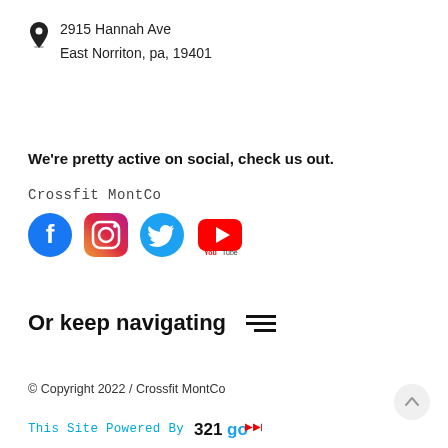2915 Hannah Ave
East Norriton, pa, 19401
We're pretty active on social, check us out.
Crossfit MontCo
[Figure (illustration): Social media icons: Facebook (blue circle), Instagram (pink/purple gradient), Twitter (blue bird), YouTube (red/white)]
Or keep navigating
© Copyright 2022 / Crossfit MontCo
This Site Powered By 321go